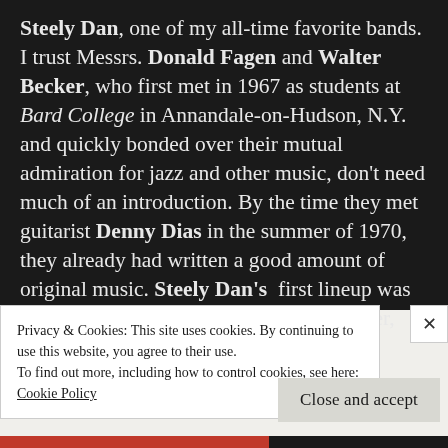Steely Dan, one of my all-time favorite bands. I trust Messrs. Donald Fagen and Walter Becker, who first met in 1967 as students at Bard College in Annandale-on-Hudson, N.Y. and quickly bonded over their mutual admiration for jazz and other music, don't need much of an introduction. By the time they met guitarist Denny Dias in the summer of 1970, they already had written a good amount of original music. Steely Dan's first lineup was assembled in December 1971, after Becker,
Privacy & Cookies: This site uses cookies. By continuing to use this website, you agree to their use.
To find out more, including how to control cookies, see here:
Cookie Policy
Close and accept